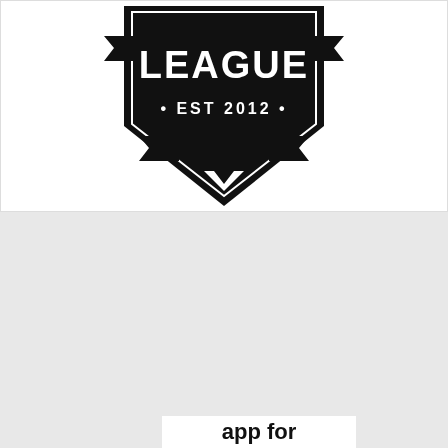[Figure (logo): Shield/badge logo with text 'LEAGUE' and '• EST 2012 •' on black background with banner ribbons]
Advertisements
[Figure (logo): Pocket Casts logo: red circular icon with headphone wave symbol, text 'Pocket Casts' in bold]
Privacy & Cookies: This site uses cookies. By continuing to use this website, you agree to their use.
To find out more, including how to control cookies, see here:
Cookie Policy
Close and accept
app for